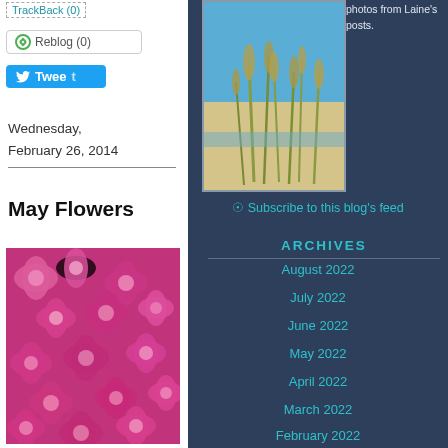TrackBack (0)
Reblog (0)
Tweet
Wednesday, February 26, 2014
May Flowers
[Figure (photo): Pink flowers, close-up, vibrant magenta/pink blooms filling the frame]
[Figure (photo): Beach scene with sea oats/grass on sand dunes under blue sky]
photos from Laine's posts.
Subscribe to this blog's feed
ARCHIVES
August 2022
July 2022
June 2022
May 2022
April 2022
March 2022
February 2022